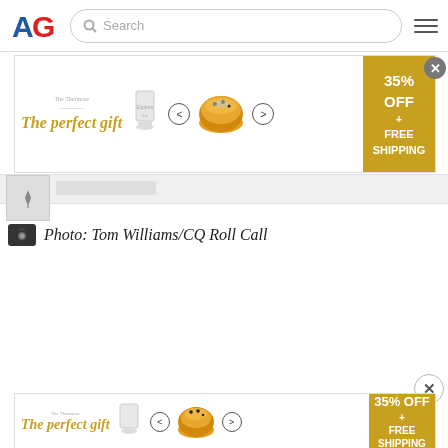AG logo, Search bar, Hamburger menu
[Figure (screenshot): Advertisement banner: 'The perfect gift' with bowl imagery, navigation arrows, and '35% OFF + FREE SHIPPING' gold panel. Close button top-right.]
Photo: Tom Williams/CQ Roll Call
[Figure (screenshot): Second advertisement banner at bottom: same 'The perfect gift' ad with bowl imagery and '35% OFF + FREE SHIPPING' gold panel. Close X button above.]